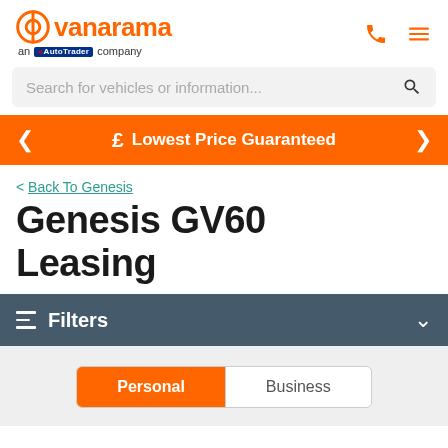vanarama — an AutoTrader company
Search for vehicles or information...
£ Lowest Price Guaranteed
< Back To Genesis
Genesis GV60 Leasing
Filters
Personal  Business